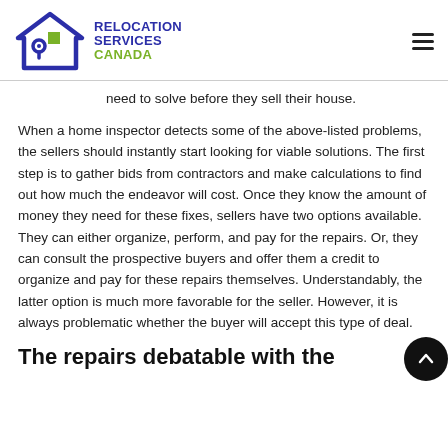[Figure (logo): Relocation Services Canada logo with a house icon (blue outline with green square and map pin) and bold text RELOCATION SERVICES in blue and CANADA in green]
need to solve before they sell their house.
When a home inspector detects some of the above-listed problems, the sellers should instantly start looking for viable solutions. The first step is to gather bids from contractors and make calculations to find out how much the endeavor will cost. Once they know the amount of money they need for these fixes, sellers have two options available. They can either organize, perform, and pay for the repairs. Or, they can consult the prospective buyers and offer them a credit to organize and pay for these repairs themselves. Understandably, the latter option is much more favorable for the seller. However, it is always problematic whether the buyer will accept this type of deal.
The repairs debatable with the